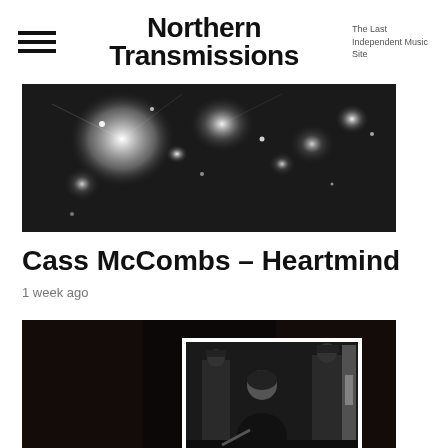Northern Transmissions — The Last Independent Music Site
[Figure (photo): Black and white photo of bright sparkling lights or fireworks against a dark background]
Cass McCombs – Heartmind
1 week ago
[Figure (photo): Black and white photo of a woman in a black dress escorted by police officers, with a doorway visible behind them on a dark background]